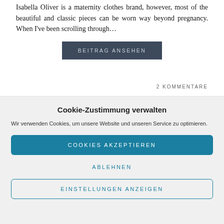Isabella Oliver is a maternity clothes brand, however, most of the beautiful and classic pieces can be worn way beyond pregnancy. When I've been scrolling through…
BEITRAG ANSEHEN
2 KOMMENTARE
Cookie-Zustimmung verwalten
Wir verwenden Cookies, um unsere Website und unseren Service zu optimieren.
COOKIES AKZEPTIEREN
ABLEHNEN
EINSTELLUNGEN ANZEIGEN